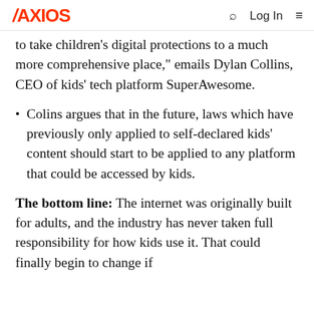AXIOS  Q  Log In  ☰
to take children's digital protections to a much more comprehensive place," emails Dylan Collins, CEO of kids' tech platform SuperAwesome.
Colins argues that in the future, laws which have previously only applied to self-declared kids' content should start to be applied to any platform that could be accessed by kids.
The bottom line: The internet was originally built for adults, and the industry has never taken full responsibility for how kids use it. That could finally begin to change if